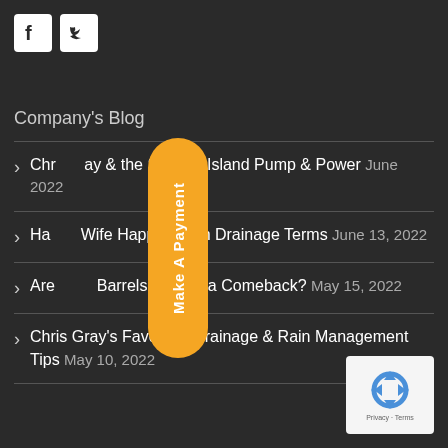[Figure (logo): Facebook and Twitter social media icons (white icons on white square backgrounds)]
Company's Blog
Chris Gray & the Story of Island Pump & Power June 2022
Happy Wife Happy Life in Drainage Terms June 13, 2022
Are Rain Barrels Making a Comeback? May 15, 2022
Chris Gray's Favourite Drainage & Rain Management Tips May 10, 2022
[Figure (other): Orange vertical pill-shaped button with text 'Make A Payment' rotated vertically]
[Figure (other): Google reCAPTCHA badge with recycling-style arrow logo and 'Privacy - Terms' text]